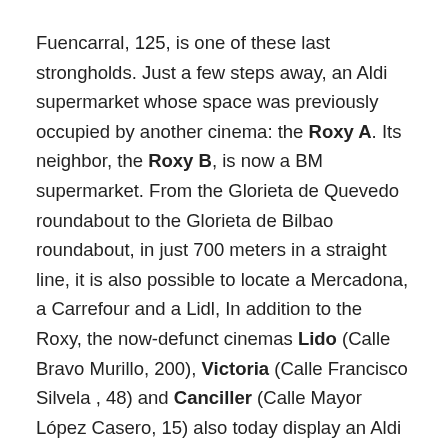Fuencarral, 125, is one of these last strongholds. Just a few steps away, an Aldi supermarket whose space was previously occupied by another cinema: the Roxy A. Its neighbor, the Roxy B, is now a BM supermarket. From the Glorieta de Quevedo roundabout to the Glorieta de Bilbao roundabout, in just 700 meters in a straight line, it is also possible to locate a Mercadona, a Carrefour and a Lidl, In addition to the Roxy, the now-defunct cinemas Lido (Calle Bravo Murillo, 200), Victoria (Calle Francisco Silvela , 48) and Canciller (Calle Mayor López Casero, 15) also today display an Aldi poster, I must add similar examples can be found in Barcelona, Malaga or Granada. Currently, Aldi is carrying out a strong expansion plan in Spain and, among the strategic areas for the chain, the town centers and urban centers of the main Spanish cities stand out, such as the case of Madrid, where the availability of space for